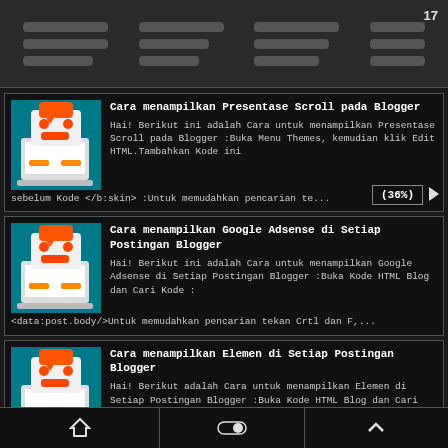[Figure (screenshot): Top navigation bar with menu icon columns and page number 17]
Cara menampilkan Presentase Scroll pada Blogger - Hai! Berikut ini adalah Cara untuk menampilkan Presentase Scroll pada Blogger :Buka Menu Themes, kemudian klik Edit HTML.Tambahkan Kode ini sebelum Kode </b:skin> :Untuk memudahkan pencarian te... (36%)
Cara menampilkan Google Adsense di Setiap Postingan Blogger - Hai! Berikut ini adalah Cara untuk menampilkan Google Adsense di Setiap Postingan Blogger :Buka Kode HTML Blog dan Cari Kode : <data:post.body/>Untuk memudahkan pencarian tekan Crtl dan F,...
Cara menampilkan Elemen di Setiap Postingan Blogger - Hai! Berikut adalah Cara untuk menampilkan Elemen di Setiap Postingan Blogger :Buka Kode HTML Blog dan Cari Kode : <data:post.body/>Untuk memudahkan pencarian tekan Crtl dan F, ketik data:post....